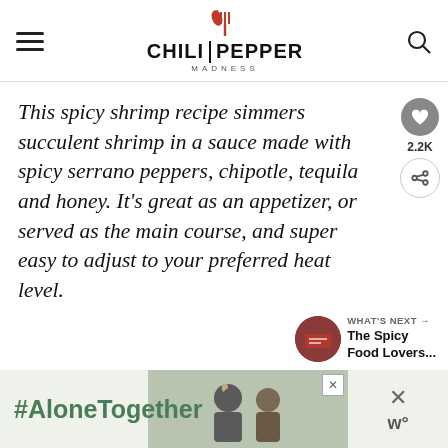Chili Pepper Madness
This spicy shrimp recipe simmers succulent shrimp in a sauce made with spicy serrano peppers, chipotle, tequila and honey. It's great as an appetizer, or served as the main course, and super easy to adjust to your preferred heat level.
[Figure (infographic): What's Next panel with circular food image thumbnail and text: WHAT'S NEXT → The Spicy Food Lovers...]
[Figure (infographic): Advertisement banner with #AloneTogether text on green background, people photo, close button, and weather.com logo]